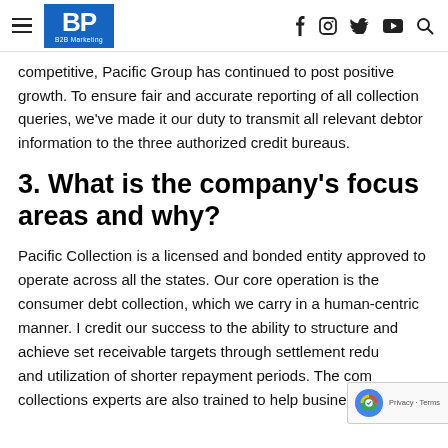BP B2B Marketing — navigation header with social icons
competitive, Pacific Group has continued to post positive growth. To ensure fair and accurate reporting of all collection queries, we've made it our duty to transmit all relevant debtor information to the three authorized credit bureaus.
3. What is the company's focus areas and why?
Pacific Collection is a licensed and bonded entity approved to operate across all the states. Our core operation is the consumer debt collection, which we carry in a human-centric manner. I credit our success to the ability to structure and achieve set receivable targets through settlement redu... and utilization of shorter repayment periods. The com... collections experts are also trained to help businesses manage contingency matters.